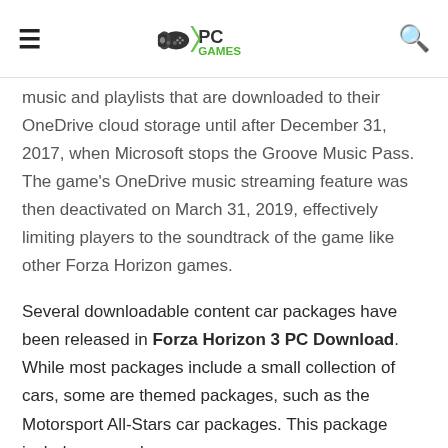PC Games logo header with hamburger menu and search icon
music and playlists that are downloaded to their OneDrive cloud storage until after December 31, 2017, when Microsoft stops the Groove Music Pass. The game's OneDrive music streaming feature was then deactivated on March 31, 2019, effectively limiting players to the soundtrack of the game like other Forza Horizon games.
Several downloadable content car packages have been released in Forza Horizon 3 PC Download. While most packages include a small collection of cars, some are themed packages, such as the Motorsport All-Stars car packages. This package includes several